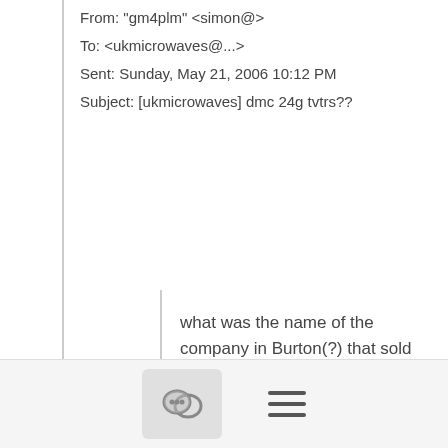From: "gm4plm" <simon@>
To: <ukmicrowaves@...>
Sent: Sunday, May 21, 2006 10:12 PM
Subject: [ukmicrowaves] dmc 24g tvtrs??
what was the name of the company in Burton(?) that sold the 24g parts??
I am looking for the case that houses these
does anyone have a spare DMC unit they have ripped all the parts